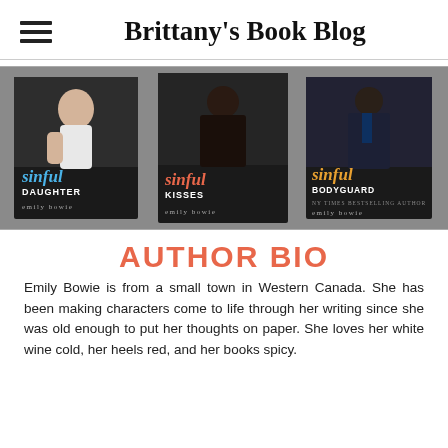Brittany's Book Blog
[Figure (photo): Three book covers displayed side by side: 'Sinful Daughter', 'Sinful Kisses', and 'Sinful Bodyguard', all by Emily Bowie, dark romance covers with shirtless male models on dark backgrounds.]
AUTHOR BIO
Emily Bowie is from a small town in Western Canada. She has been making characters come to life through her writing since she was old enough to put her thoughts on paper. She loves her white wine cold, her heels red, and her books spicy.